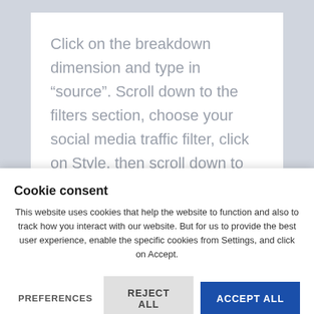Click on the breakdown dimension and type in “source”. Scroll down to the filters section, choose your social media traffic filter, click on Style, then scroll down to the legend section.
Cookie consent
This website uses cookies that help the website to function and also to track how you interact with our website. But for us to provide the best user experience, enable the specific cookies from Settings, and click on Accept.